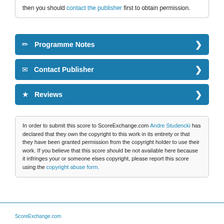then you should contact the publisher first to obtain permission.
Programme Notes
Contact Publisher
Reviews
In order to submit this score to ScoreExchange.com Andre Studencki has declared that they own the copyright to this work in its entirety or that they have been granted permission from the copyright holder to use their work. If you believe that this score should be not available here because it infringes your or someone elses copyright, please report this score using the copyright abuse form.